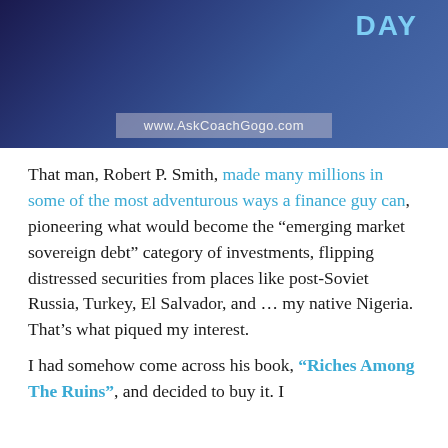[Figure (photo): Dark blue-toned banner image of a man in a suit, with text 'DAY' in light blue and a website URL bar showing www.AskCoachGogo.com]
That man, Robert P. Smith, made many millions in some of the most adventurous ways a finance guy can, pioneering what would become the “emerging market sovereign debt” category of investments, flipping distressed securities from places like post-Soviet Russia, Turkey, El Salvador, and … my native Nigeria.
That’s what piqued my interest.
I had somehow come across his book, “Riches Among The Ruins”, and decided to buy it. I